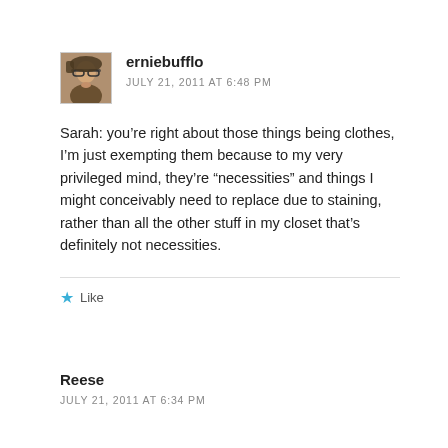[Figure (photo): Small avatar photo of erniebufflo, a person wearing glasses]
erniebufflo
JULY 21, 2011 AT 6:48 PM
Sarah: you’re right about those things being clothes, I’m just exempting them because to my very privileged mind, they’re “necessities” and things I might conceivably need to replace due to staining, rather than all the other stuff in my closet that’s definitely not necessities.
Like
Reese
JULY 21, 2011 AT 6:34 PM